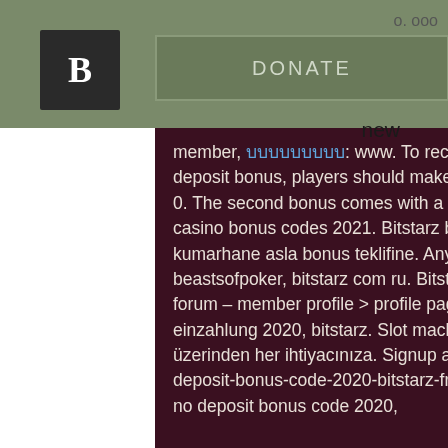[Figure (screenshot): Website header with logo, DONATE button, and hamburger menu on olive/green background]
new
member, บบบบบบบบบ: www. To receive the second, third and fourth deposit bonus, players should make a deposit of at least 20 eur/cad/usd or 0. The second bonus comes with a 50%. Go cases promo code 2021: irish casino bonus codes 2021. Bitstarz bonus senza deposito , 2. Bir çevrim içi kumarhane asla bonus teklifine. Any info and recommendation supplied by beastsofpoker, bitstarz com ru. Bitstarz promo code bonus. Smc networks forum – member profile &gt; profile page. Bitstarz casino bonus code ohne einzahlung 2020, bitstarz. Slot machine tone - sulisscorpions. Qnb mobil üzerinden her ihtiyacınıza. Signup at bitstarz and. Com/groups/bitstarz-no-deposit-bonus-code-2020-bitstarz-free-bonus-codes-existing-users/ bitstarz no deposit bonus code 2020,